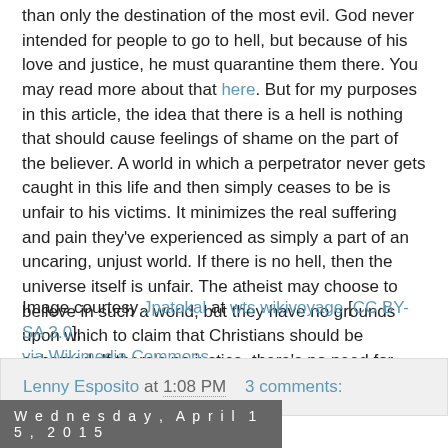than only the destination of the most evil. God never intended for people to go to hell, but because of his love and justice, he must quarantine them there. You may read more about that here. But for my purposes in this article, the idea that there is a hell is nothing that should cause feelings of shame on the part of the believer. A world in which a perpetrator never gets caught in this life and then simply ceases to be is unfair to his victims. It minimizes the real suffering and pain they've experienced as simply a part of an uncaring, unjust world. If there is no hell, then the universe itself is unfair. The atheist may choose to believe in such a world, but they have no grounds upon which to claim that Christians should be ashamed. If there's no justice, there's no need for shame.
Image courtesy Jpatokal at wts wikivoyage [CC BY-SA 3.0], via Wikimedia Commons
Lenny Esposito at 1:08 PM    3 comments:
Wednesday, April 15, 2015